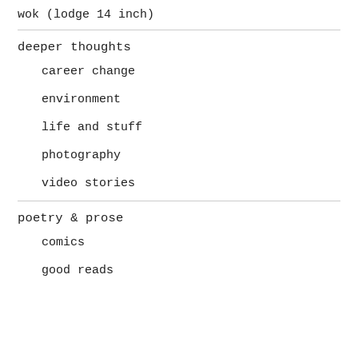wok (lodge 14 inch)
deeper thoughts
career change
environment
life and stuff
photography
video stories
poetry & prose
comics
good reads